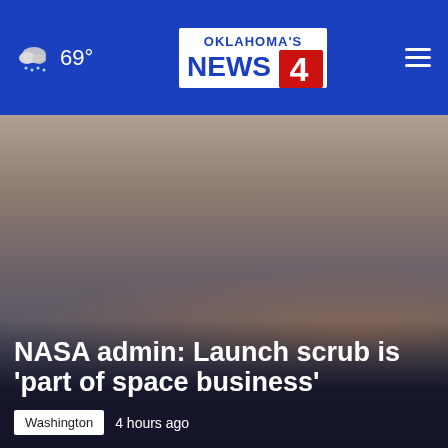Oklahoma's News 4 | 69°
NASA admin: Launch scrub is 'part of space business'
Washington  4 hours ago
NASA was forced to delay the launch of its moon rocket after some technical issues on Monday. The highly-anticipated flight is still expected to happen eventually.
[Figure (screenshot): News website screenshot showing a document image partially visible below the article]
[Figure (infographic): Ad banner for Full Service Marketing by High Five Media]